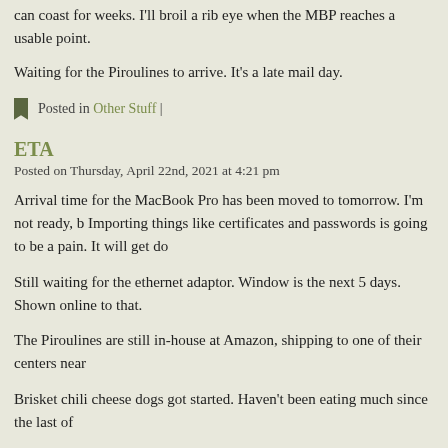can coast for weeks. I'll broil a rib eye when the MBP reaches a usable point.
Waiting for the Piroulines to arrive. It's a late mail day.
Posted in Other Stuff |
ETA
Posted on Thursday, April 22nd, 2021 at 4:21 pm
Arrival time for the MacBook Pro has been moved to tomorrow. I'm not ready, b Importing things like certificates and passwords is going to be a pain. It will get do
Still waiting for the ethernet adaptor. Window is the next 5 days. Shown online to that.
The Piroulines are still in-house at Amazon, shipping to one of their centers near
Brisket chili cheese dogs got started. Haven't been eating much since the last of
Tabbed The Bonnie Banks of Loch Lomond yesterday.
Windows are open, 72°F for the high, overcast, rain tomorrow. Not warm, but m increases as we approach May. A couple of fluctuations in the forecast, but no me